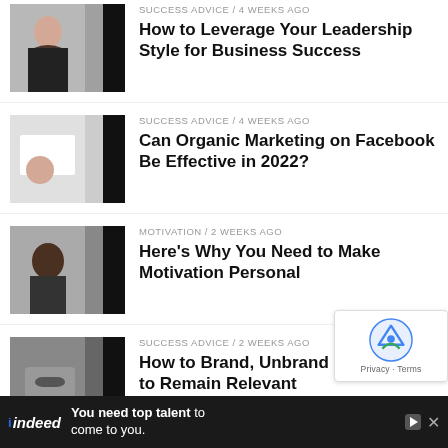SUCCESS ADVICE / 4 weeks ago — How to Leverage Your Leadership Style for Business Success
SUCCESS ADVICE / 4 weeks ago — Can Organic Marketing on Facebook Be Effective in 2022?
MOTIVATION / 2 weeks ago — Here's Why You Need to Make Motivation Personal
SUCCESS ADVICE / 2 weeks ago — How to Brand, Unbrand and Rebrand to Remain Relevant
SUCCESS ADVICE / 2 weeks ago — How Creatives Can Survive in the 21st
[Figure (screenshot): reCAPTCHA widget overlay in lower right]
[Figure (screenshot): Indeed advertisement banner at bottom: 'You need top talent to come to you.']